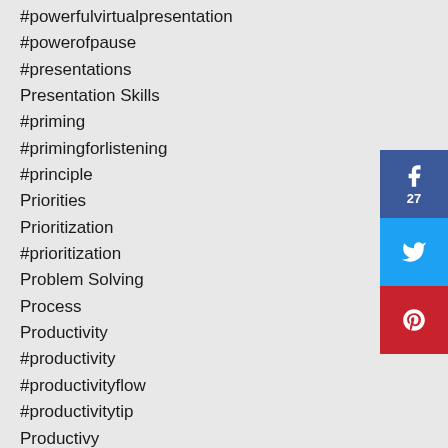#powerfulvirtualpresentation
#powerofpause
#presentations
Presentation Skills
#priming
#primingforlistening
#principle
Priorities
Prioritization
#prioritization
Problem Solving
Process
Productivity
#productivity
#productivityflow
#productivitytip
Productivy
Project Management
#prompt